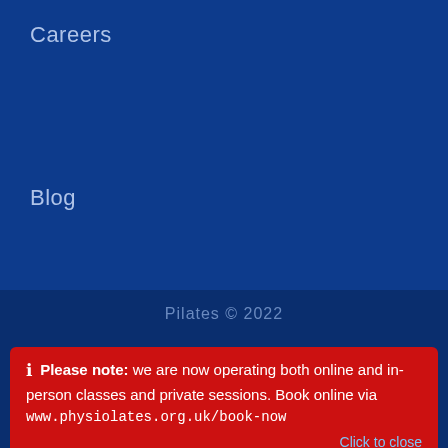Careers
Blog
Pilates © 2022
Please note: we are now operating both online and in-person classes and private sessions. Book online via www.physiolates.org.uk/book-now
Click to close